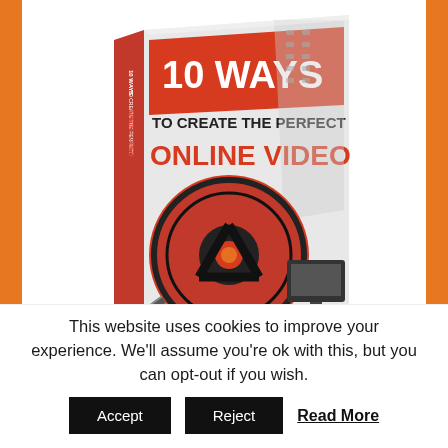[Figure (illustration): 3D book cover titled '10 Ways to Create the Perfect Online Video' with a film reel and monitor graphic. Subtitle: 'The Hottest New Techniques to Creating Hot New Videos'. Orange and red/white color scheme.]
This website uses cookies to improve your experience. We'll assume you're ok with this, but you can opt-out if you wish.
Accept   Reject   Read More